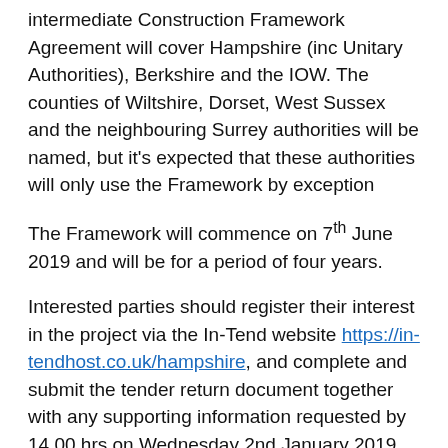intermediate Construction Framework Agreement will cover Hampshire (inc Unitary Authorities), Berkshire and the IOW. The counties of Wiltshire, Dorset, West Sussex and the neighbouring Surrey authorities will be named, but it's expected that these authorities will only use the Framework by exception
The Framework will commence on 7th June 2019 and will be for a period of four years.
Interested parties should register their interest in the project via the In-Tend website https://in-tendhost.co.uk/hampshire, and complete and submit the tender return document together with any supporting information requested by 14.00 hrs on Wednesday 2nd January 2019.